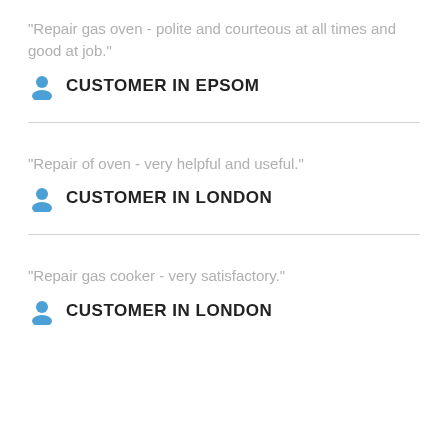"Repair gas oven - polite and courteous at all times and good at job."
CUSTOMER IN EPSOM
"Repair of oven - very helpful and useful."
CUSTOMER IN LONDON
"Repair gas cooker - very satisfactory."
CUSTOMER IN LONDON